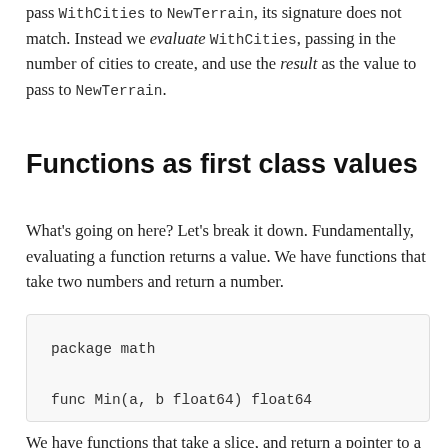pass WithCities to NewTerrain, its signature does not match. Instead we evaluate WithCities, passing in the number of cities to create, and use the result as the value to pass to NewTerrain.
Functions as first class values
What's going on here? Let's break it down. Fundamentally, evaluating a function returns a value. We have functions that take two numbers and return a number.
package math

func Min(a, b float64) float64
We have functions that take a slice, and return a pointer to a